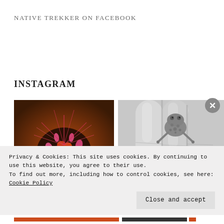NATIVE TREKKER ON FACEBOOK
INSTAGRAM
[Figure (photo): Close-up photo of a cactus with red-orange blooms and pink spines]
[Figure (photo): Black and white photo of a small frog or toad sitting on a person's fingers]
Privacy & Cookies: This site uses cookies. By continuing to use this website, you agree to their use. To find out more, including how to control cookies, see here: Cookie Policy
Close and accept